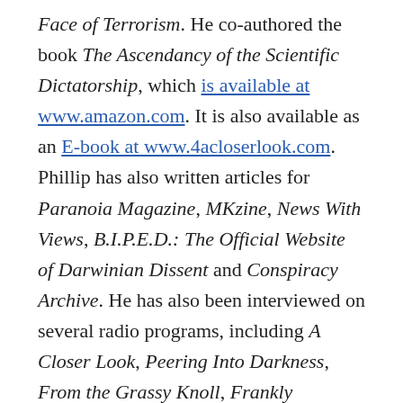Face of Terrorism. He co-authored the book The Ascendancy of the Scientific Dictatorship, which is available at www.amazon.com. It is also available as an E-book at www.4acloserlook.com. Phillip has also written articles for Paranoia Magazine, MKzine, News With Views, B.I.P.E.D.: The Official Website of Darwinian Dissent and Conspiracy Archive. He has also been interviewed on several radio programs, including A Closer Look, Peering Into Darkness, From the Grassy Knoll, Frankly Speaking, the ByteShow, and Sphinx Radio.
In 1999, Phillip earned an Associate degree of Arts and Science. In 2006, he earned a bachelor's degree with a major in communication studies and liberal studies along with a minor in philosophy. During the